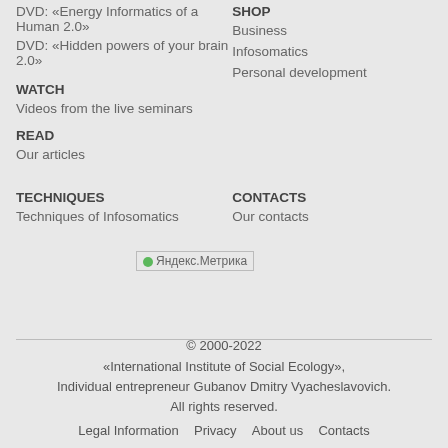DVD: «Energy Informatics of a Human 2.0»
DVD: «Hidden powers of your brain 2.0»
SHOP
Business
WATCH
Infosomatics
Videos from the live seminars
Personal development
READ
Our articles
TECHNIQUES
CONTACTS
Techniques of Infosomatics
Our contacts
[Figure (logo): Яндекс.Метрика tracker image]
© 2000-2022
«International Institute of Social Ecology»,
Individual entrepreneur Gubanov Dmitry Vyacheslavovich.
All rights reserved.

Legal Information   Privacy   About us   Contacts